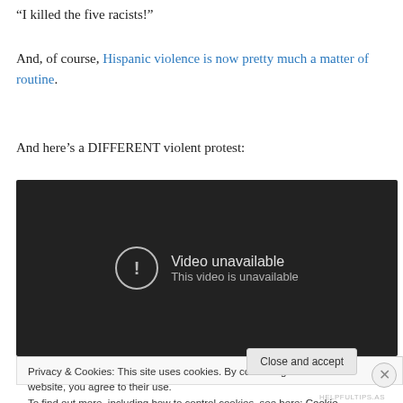“I killed the five racists!”
And, of course, Hispanic violence is now pretty much a matter of routine.
And here’s a DIFFERENT violent protest:
[Figure (screenshot): Embedded YouTube video player showing 'Video unavailable - This video is unavailable' message on a dark background]
Privacy & Cookies: This site uses cookies. By continuing to use this website, you agree to their use.
To find out more, including how to control cookies, see here: Cookie Policy
Close and accept